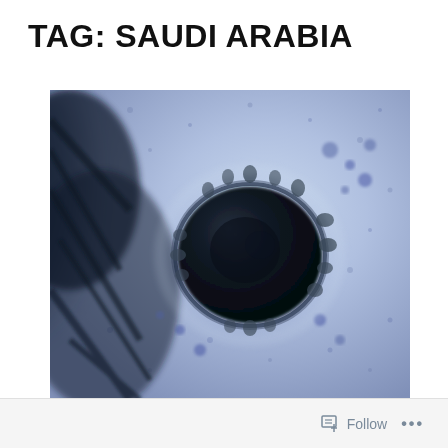TAG: SAUDI ARABIA
[Figure (photo): Electron microscope image of a coronavirus particle (likely MERS-CoV) showing a dark spherical viral particle with spike proteins on a blue-purple background, consistent with transmission electron microscopy imagery of coronavirus]
Follow ...